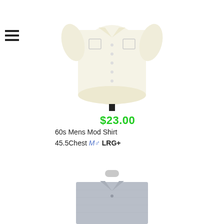[Figure (photo): Cream/white 60s mens mod short-sleeve button-up shirt on a mannequin, viewed from front, displayed on white background]
$23.00
60s Mens Mod Shirt
45.5Chest M♂ LRG+
[Figure (photo): Gray/blue collared shirt on a mannequin, viewed from front, partially visible at bottom of page]